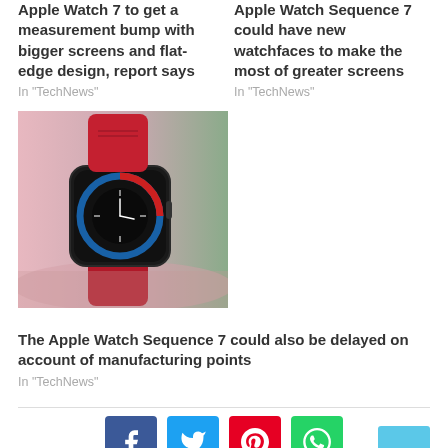Apple Watch 7 to get a measurement bump with bigger screens and flat-edge design, report says
In "TechNews"
Apple Watch Sequence 7 could have new watchfaces to make the most of greater screens
In "TechNews"
[Figure (photo): Apple Watch with red band showing a dark clock face with blue and red ring display, on a surface with green background]
The Apple Watch Sequence 7 could also be delayed on account of manufacturing points
In "TechNews"
[Figure (infographic): Social sharing buttons: Facebook (blue), Twitter (light blue), Pinterest (red), WhatsApp (green), and a scroll-to-top button (light blue)]